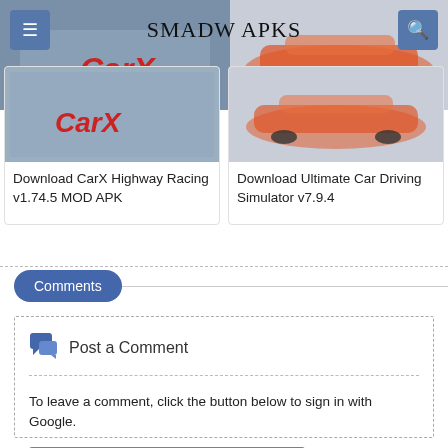SMADW APKS
Download CarX Highway Racing v1.74.5 MOD APK
Download Ultimate Car Driving Simulator v7.9.4
Comments
Post a Comment
To leave a comment, click the button below to sign in with Google.
SIGN IN WITH GOOGLE